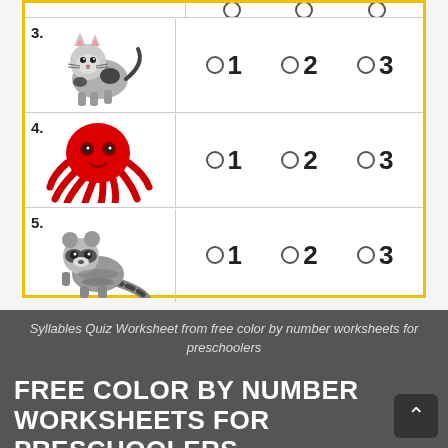[Figure (illustration): Worksheet showing syllable counting quiz with animals (cat, octopus, raccoon) each with radio button options for 1, 2, or 3 syllables]
Syllables Quiz Worksheet from free color by number worksheets for preschoolers
FREE COLOR BY NUMBER WORKSHEETS FOR PRESCHOOLERS